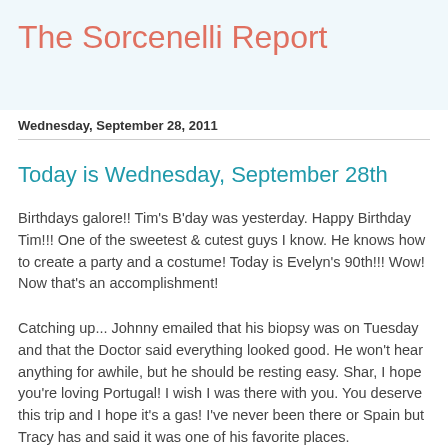The Sorcenelli Report
Wednesday, September 28, 2011
Today is Wednesday, September 28th
Birthdays galore!! Tim's B'day was yesterday. Happy Birthday Tim!!! One of the sweetest & cutest guys I know. He knows how to create a party and a costume! Today is Evelyn's 90th!!! Wow! Now that's an accomplishment!
Catching up... Johnny emailed that his biopsy was on Tuesday and that the Doctor said everything looked good. He won't hear anything for awhile, but he should be resting easy. Shar, I hope you're loving Portugal! I wish I was there with you. You deserve this trip and I hope it's a gas! I've never been there or Spain but Tracy has and said it was one of his favorite places.